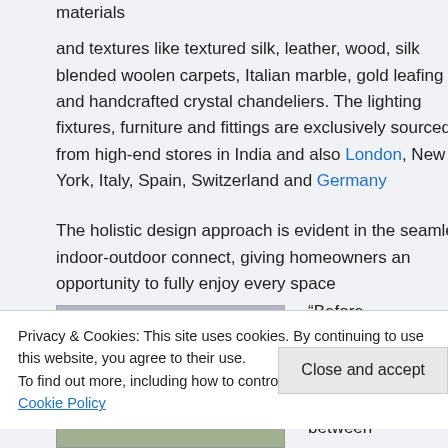materials and textures like textured silk, leather, wood, silk blended woolen carpets, Italian marble, gold leafing and handcrafted crystal chandeliers. The lighting fixtures, furniture and fittings are exclusively sourced from high-end stores in India and also London, New York, Italy, Spain, Switzerland and Germany
The holistic design approach is evident in the seamless indoor-outdoor connect, giving homeowners an opportunity to fully enjoy every space
[Figure (photo): Partial photo of a building or interior, partially obscured by cookie banner]
"Before
Privacy & Cookies: This site uses cookies. By continuing to use this website, you agree to their use.
To find out more, including how to control cookies, see here: Cookie Policy
Close and accept
[Figure (photo): Bottom partial photo, partially visible below cookie banner]
between